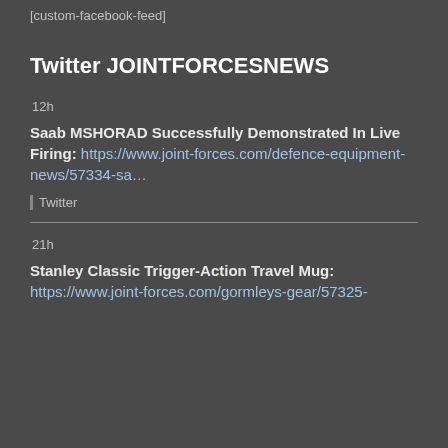[custom-facebook-feed]
Twitter JOINTFORCESNEWS
12h
Saab MSHORAD Successfully Demonstrated In Live Firing: https://www.joint-forces.com/defence-equipment-news/57334-sa…
Twitter
21h
Stanley Classic Trigger-Action Travel Mug: https://www.joint-forces.com/gormleys-gear/57325-